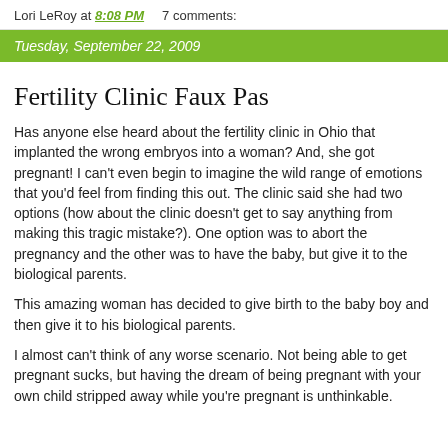Lori LeRoy at 8:08 PM    7 comments:
Tuesday, September 22, 2009
Fertility Clinic Faux Pas
Has anyone else heard about the fertility clinic in Ohio that implanted the wrong embryos into a woman? And, she got pregnant! I can't even begin to imagine the wild range of emotions that you'd feel from finding this out. The clinic said she had two options (how about the clinic doesn't get to say anything from making this tragic mistake?). One option was to abort the pregnancy and the other was to have the baby, but give it to the biological parents.
This amazing woman has decided to give birth to the baby boy and then give it to his biological parents.
I almost can't think of any worse scenario. Not being able to get pregnant sucks, but having the dream of being pregnant with your own child stripped away while you're pregnant is unthinkable.